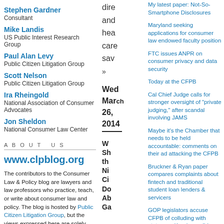Stephen Gardner
Consultant
Mike Landis
US Public Interest Research Group
Paul Alan Levy
Public Citizen Litigation Group
Scott Nelson
Public Citizen Litigation Group
Ira Rheingold
National Association of Consumer Advocates
Jon Sheldon
National Consumer Law Center
ABOUT US
www.clpblog.org
The contributors to the Consumer Law & Policy blog are lawyers and law professors who practice, teach, or write about consumer law and policy. The blog is hosted by Public Citizen Litigation Group, but the views expressed here are solely those of the
dire
and
hea
care
sav
»
Wed
March
26,
2014
W
Sh
th
Ni
Ci
Do
Ab
Ga
My latest paper: Not-So-Smartphone Disclosures
Maryland seeking applications for consumer law endowed faculty position
FTC issues ANPR on consumer privacy and data security
Today at the CFPB
Cal Chief Judge calls for stronger oversight of "private judging," after scandal involving JAMS
Maybe it's the Chamber that needs to be held accountable: comments on their ad attacking the CFPB
Bruckner & Ryan paper compares complaints about fintech and traditional student loan lenders & servicers
GOP legislators accuse CFPB of colluding with states, as Kraninger did
WSJ: Equifax Sent Lenders Inaccurate Credit Scores on Millions of Consumers
Unfairness and Disparate Effects